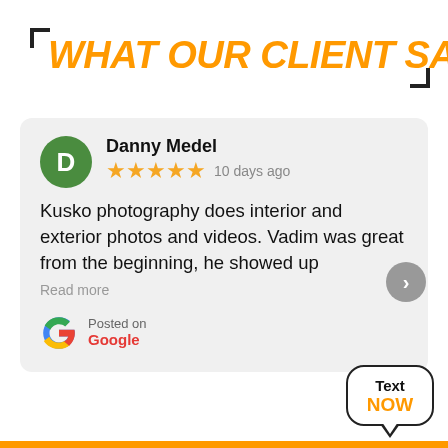WHAT OUR CLIENT SAY
Danny Medel
★★★★★  10 days ago
Kusko photography does interior and exterior photos and videos. Vadim was great from the beginning, he showed up
Read more
Posted on
Google
[Figure (infographic): Text Now speech bubble with black border]
Text NOW